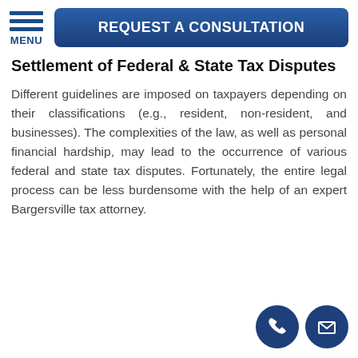MENU | REQUEST A CONSULTATION
Settlement of Federal & State Tax Disputes
Different guidelines are imposed on taxpayers depending on their classifications (e.g., resident, non-resident, and businesses). The complexities of the law, as well as personal financial hardship, may lead to the occurrence of various federal and state tax disputes. Fortunately, the entire legal process can be less burdensome with the help of an expert Bargersville tax attorney.
[Figure (illustration): Phone icon and email/envelope icon in dark blue circles, bottom right corner]